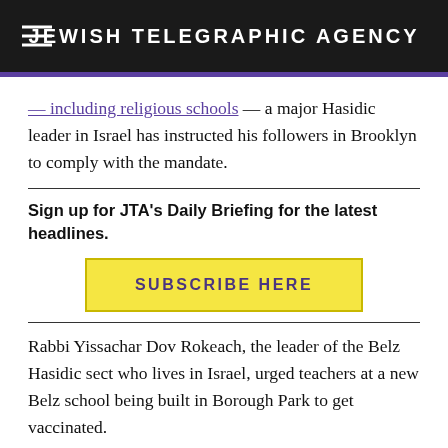JEWISH TELEGRAPHIC AGENCY
— including religious schools — a major Hasidic leader in Israel has instructed his followers in Brooklyn to comply with the mandate.
Sign up for JTA's Daily Briefing for the latest headlines.
SUBSCRIBE HERE
Rabbi Yissachar Dov Rokeach, the leader of the Belz Hasidic sect who lives in Israel, urged teachers at a new Belz school being built in Borough Park to get vaccinated.
“In the matter of vaccinations against Corona, indeed, it is proper for all staff members to be vaccinated — the men as